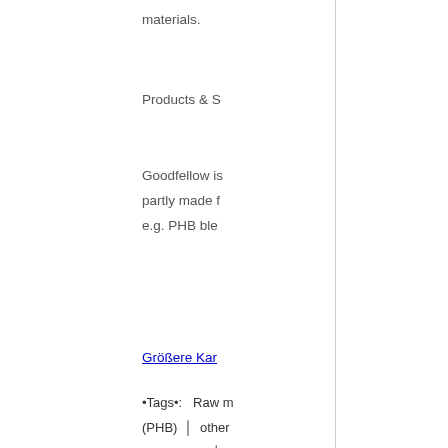materials.
Products & S
Goodfellow is partly made f e.g. PHB ble
Größere Kar
•Tags•:   Raw (PHB)  |  other ressources  |
FKuR
Contact Deta
Your local co
Headquarter: (0)2154 9251
www.fkur.con